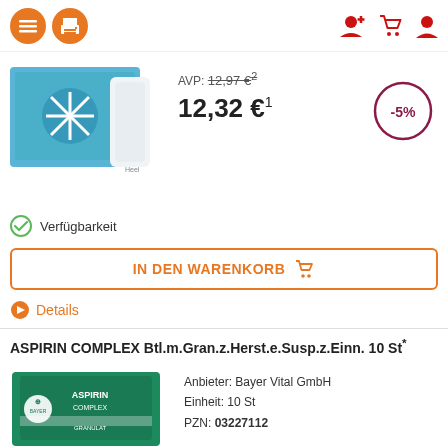Navigation and user icons header
[Figure (photo): Product image: blue/white pharmaceutical product packaging with snowflake design]
AVP: 12,97 €²
12,32 €¹
-5%
Verfügbarkeit
IN DEN WARENKORB
Details
ASPIRIN COMPLEX Btl.m.Gran.z.Herst.e.Susp.z.Einn. 10 St*
[Figure (photo): ASPIRIN COMPLEX green packaging box with Bayer logo]
Anbieter: Bayer Vital GmbH
Einheit: 10 St
PZN: 03227112
AVP: 10,48 €